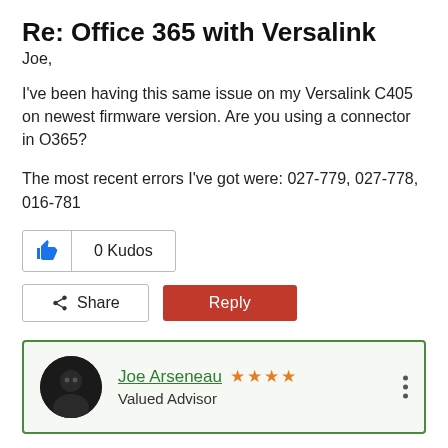Re: Office 365 with Versalink
Joe,
I've been having this same issue on my Versalink C405 on newest firmware version. Are you using a connector in O365?
The most recent errors I've got were: 027-779, 027-778, 016-781
0 Kudos
Share   Reply
Joe Arseneau ★★★★
Valued Advisor